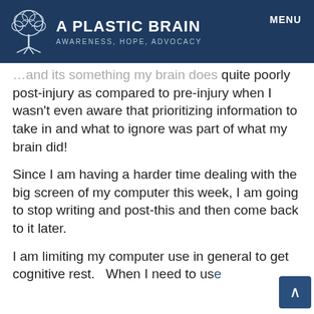A PLASTIC BRAIN
AWARENESS, HOPE, ADVOCACY
…and its something my brain does quite poorly post-injury as compared to pre-injury when I wasn't even aware that prioritizing information to take in and what to ignore was part of what my brain did!
Since I am having a harder time dealing with the big screen of my computer this week, I am going to stop writing and post-this and then come back to it later.
I am limiting my computer use in general to get cognitive rest.   When I need to use